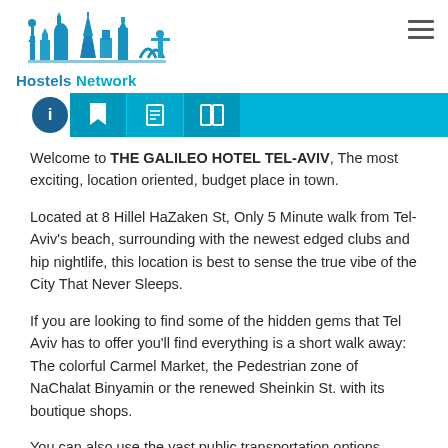[Figure (logo): Hostels Network logo with skyline illustration of world landmarks in blue]
Hostels Network
Welcome to THE GALILEO HOTEL TEL-AVIV, The most exciting, location oriented, budget place in town.
Located at 8 Hillel HaZaken St, Only 5 Minute walk from Tel-Aviv's beach, surrounding with the newest edged clubs and hip nightlife, this location is best to sense the true vibe of the City That Never Sleeps.
If you are looking to find some of the hidden gems that Tel Aviv has to offer you'll find everything is a short walk away: The colorful Carmel Market, the Pedestrian zone of NaChalat Binyamin or the renewed Sheinkin St. with its boutique shops.
You can also use the vast public transportation options